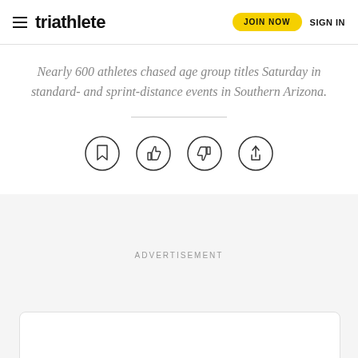triathlete | JOIN NOW | SIGN IN
Nearly 600 athletes chased age group titles Saturday in standard- and sprint-distance events in Southern Arizona.
[Figure (other): Four circular icon buttons: bookmark, thumbs up, thumbs down, share]
ADVERTISEMENT